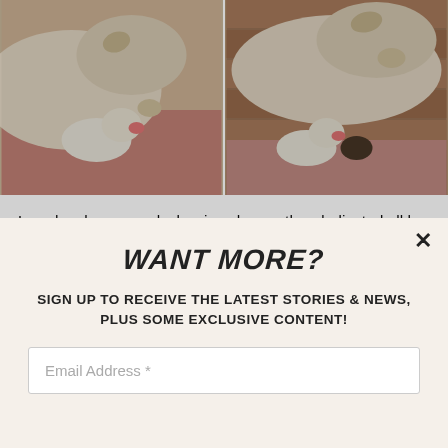[Figure (photo): Two side-by-side photos of a mother dog and a small puppy (Lucy). Left photo shows a white puppy being licked/nuzzled by a larger dog on a pink blanket. Right photo shows a similar scene from a different angle on a wooden deck.]
Lucy has been very lucky since her mother dedicated all her attention and power to save her. Experts say that runt babies are geting cut off as the mothers focus in rasing the healthier babies. We hope that Lucy will soon be fully healthy and able to play with her mother and her siblings!
(partially visible/cut-off line)
WANT MORE?
SIGN UP TO RECEIVE THE LATEST STORIES & NEWS, PLUS SOME EXCLUSIVE CONTENT!
Email Address *